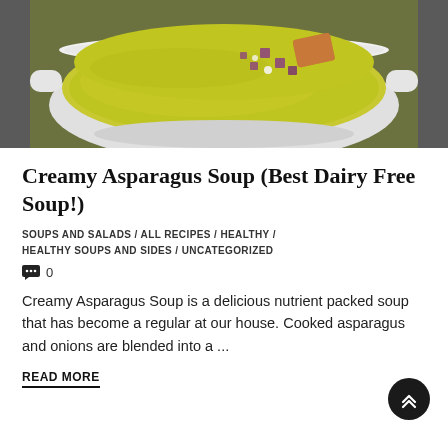[Figure (photo): A white bowl filled with creamy asparagus soup, topped with croutons, diced red onion, and garnishes, photographed from above on a dark surface.]
Creamy Asparagus Soup (Best Dairy Free Soup!)
SOUPS AND SALADS / ALL RECIPES / HEALTHY / HEALTHY SOUPS AND SIDES / UNCATEGORIZED
0
Creamy Asparagus Soup is a delicious nutrient packed soup that has become a regular at our house. Cooked asparagus and onions are blended into a ...
READ MORE